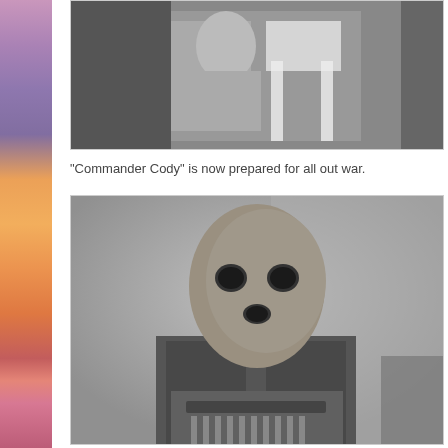[Figure (photo): Black and white photograph showing a person seated in a chair, partially visible, appears to be a scene from a film or editorial context. Top portion of the page, cropped.]
"Commander Cody" is now prepared for all out war.
[Figure (photo): Black and white photograph of a person wearing a full-head mask/balaclava with eye and mouth holes, dressed in dark clothing and holding what appears to be a weapon or device. The figure is identified as 'Commander Cody'.]